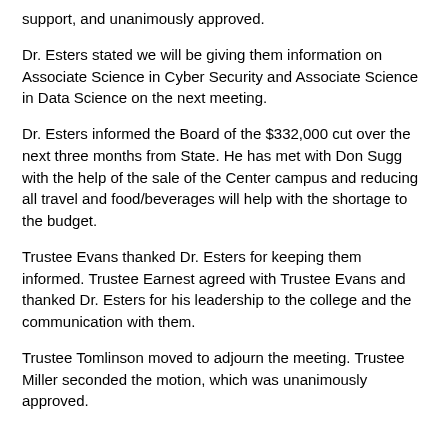support, and unanimously approved.
Dr. Esters stated we will be giving them information on Associate Science in Cyber Security and Associate Science in Data Science on the next meeting.
Dr. Esters informed the Board of the $332,000 cut over the next three months from State. He has met with Don Sugg with the help of the sale of the Center campus and reducing all travel and food/beverages will help with the shortage to the budget.
Trustee Evans thanked Dr. Esters for keeping them informed. Trustee Earnest agreed with Trustee Evans and thanked Dr. Esters for his leadership to the college and the communication with them.
Trustee Tomlinson moved to adjourn the meeting. Trustee Miller seconded the motion, which was unanimously approved.